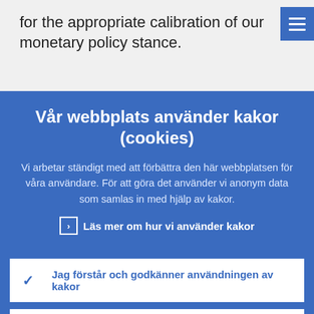for the appropriate calibration of our monetary policy stance.
Vår webbplats använder kakor (cookies)
Vi arbetar ständigt med att förbättra den här webbplatsen för våra användare. För att göra det använder vi anonym data som samlas in med hjälp av kakor.
Läs mer om hur vi använder kakor
Jag förstår och godkänner användningen av kakor
Jag godkänner inte användningen av kakor